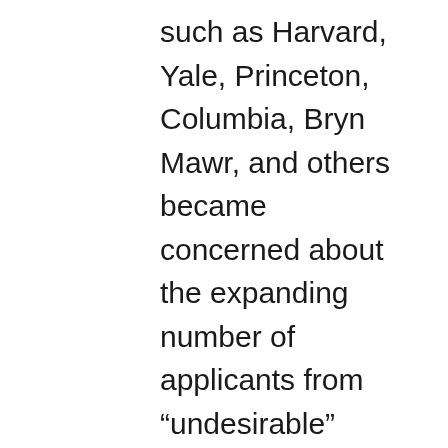such as Harvard, Yale, Princeton, Columbia, Bryn Mawr, and others became concerned about the expanding number of applicants from “undesirable” backgrounds. The colleges saw themselves as institutions run by and for Americans—White Anglo-Saxon Protestant Americans—and were troubled by increasing numbers of “unfit” applicants and students, namely immigrants, Jews, Italians, and Catholics.